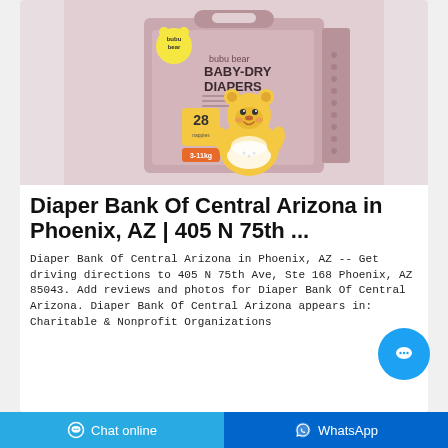[Figure (photo): Product photo of bubu bear Baby-Dry Diapers package (28 count), pink/mauve packaging with cartoon bear character, on a light grey-pink background.]
Diaper Bank Of Central Arizona in Phoenix, AZ | 405 N 75th ...
Diaper Bank Of Central Arizona in Phoenix, AZ -- Get driving directions to 405 N 75th Ave, Ste 168 Phoenix, AZ 85043. Add reviews and photos for Diaper Bank Of Central Arizona. Diaper Bank Of Central Arizona appears in: Charitable & Nonprofit Organizations